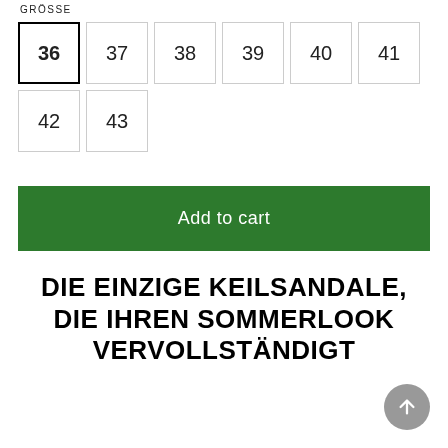GRÖSSE
36 (selected), 37, 38, 39, 40, 41, 42, 43
Add to cart
DIE EINZIGE KEILSANDALE, DIE IHREN SOMMERLOOK VERVOLLSTÄNDIGT